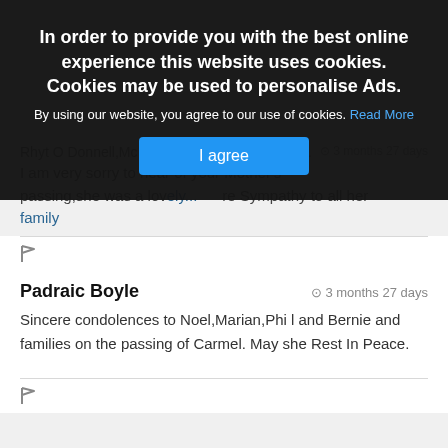[Figure (screenshot): Cookie consent overlay banner with title 'In order to provide you with the best online experience this website uses cookies. Cookies may be used to personalise Ads.', subtitle text, Read More link, and I agree button]
Rhyt O Donnell,Mc Namon, Barmet and to all...
I am very sorry to hear of your Mother's passing,she was a lov... ...re Sympathy to all her family
Padraic Boyle
3 months 27 days
Sincere condolences to Noel,Marian,Phi l and Bernie and families on the passing of Carmel. May she Rest In Peace.